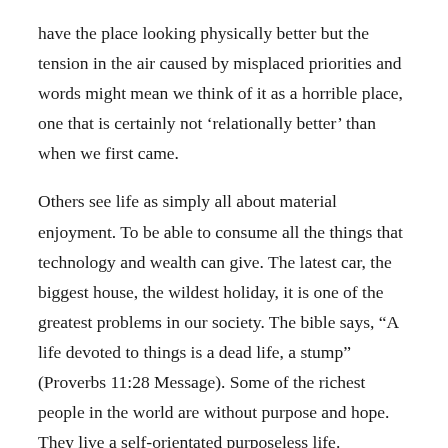have the place looking physically better but the tension in the air caused by misplaced priorities and words might mean we think of it as a horrible place, one that is certainly not 'relationally better' than when we first came.
Others see life as simply all about material enjoyment. To be able to consume all the things that technology and wealth can give. The latest car, the biggest house, the wildest holiday, it is one of the greatest problems in our society. The bible says, “A life devoted to things is a dead life, a stump” (Proverbs 11:28 Message). Some of the richest people in the world are without purpose and hope. They live a self-orientated purposeless life.
The rest of the verse I quoted to you above says this, “a